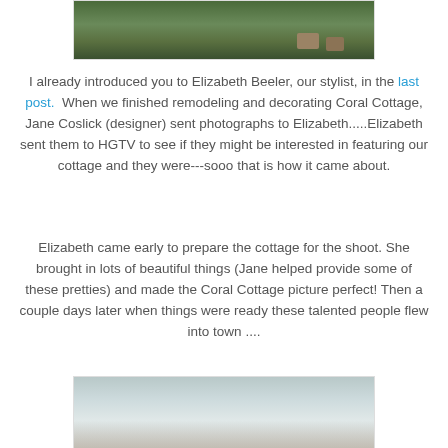[Figure (photo): Partial photo of a garden/yard area with green grass and plants, cardboard boxes visible in background]
I already introduced you to Elizabeth Beeler, our stylist, in the last post.  When we finished remodeling and decorating Coral Cottage, Jane Coslick (designer) sent photographs to Elizabeth.....Elizabeth sent them to HGTV to see if they might be interested in featuring our cottage and they were---sooo that is how it came about.
Elizabeth came early to prepare the cottage for the shoot.  She brought in lots of beautiful things (Jane helped provide some of these pretties) and made the Coral Cottage picture perfect!  Then a couple days later when things were ready these talented people flew into town ....
[Figure (photo): Photo of people standing inside a white-walled cottage room, partial view showing interior setting]